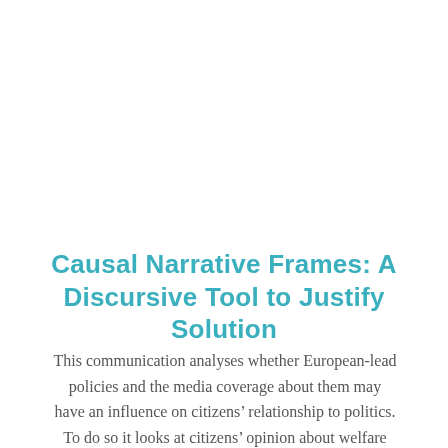Causal Narrative Frames: A Discursive Tool to Justify Solution
This communication analyses whether European-lead policies and the media coverage about them may have an influence on citizens' relationship to politics. To do so it looks at citizens' opinion about welfare policies. The focus is on a peculiar policy: European